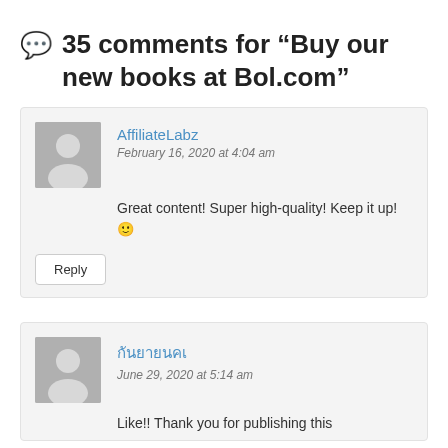35 comments for “Buy our new books at Bol.com”
AffiliateLabz
February 16, 2020 at 4:04 am
Great content! Super high-quality! Keep it up! 🙂
Reply
กันยายนคเ (Thai characters)
June 29, 2020 at 5:14 am
Like!! Thank you for publishing this